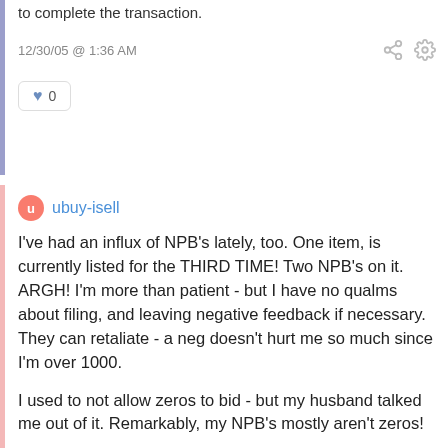to complete the transaction.
12/30/05 @ 1:36 AM
0
ubuy-isell
I've had an influx of NPB's lately, too. One item, is currently listed for the THIRD TIME! Two NPB's on it. ARGH! I'm more than patient - but I have no qualms about filing, and leaving negative feedback if necessary. They can retaliate - a neg doesn't hurt me so much since I'm over 1000.

I used to not allow zeros to bid - but my husband talked me out of it. Remarkably, my NPB's mostly aren't zeros!